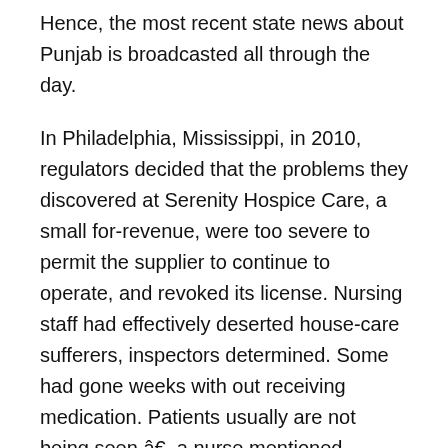Hence, the most recent state news about Punjab is broadcasted all through the day.
In Philadelphia, Mississippi, in 2010, regulators decided that the problems they discovered at Serenity Hospice Care, a small for-revenue, were too severe to permit the supplier to continue to operate, and revoked its license. Nursing staff had effectively deserted house-care sufferers, inspectors determined. Some had gone weeks with out receiving medication. Patients usually are not being seen,â€ a nurse mentioned, explaining that she skipped visits as a result of she did not have gas money.
Screens from the state also found that